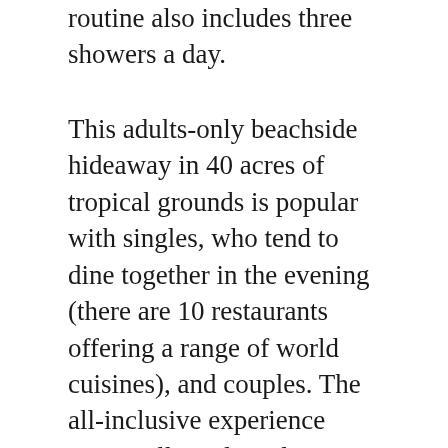routine also includes three showers a day.
This adults-only beachside hideaway in 40 acres of tropical grounds is popular with singles, who tend to dine together in the evening (there are 10 restaurants offering a range of world cuisines), and couples. The all-inclusive experience covers all meals and any-time snacks; unlimited beer, wine and premium liquors in the six bars; stocked bars in every room; PADI-certified scuba diving and equipment; snorkelling and equipment; Hobie Cats, paddle boards and kayaks; tennis; fitness centres; entertainment, including live shows; all tips and taxes and round-trip airport transfers.